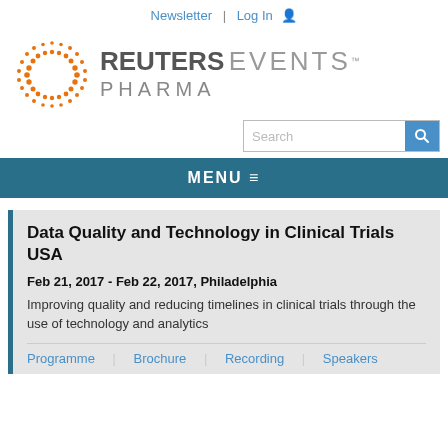Newsletter | Log In
[Figure (logo): Reuters Events Pharma logo with orange dotted circle and text]
[Figure (other): Search bar with magnifying glass icon]
MENU ≡
Data Quality and Technology in Clinical Trials USA
Feb 21, 2017 - Feb 22, 2017, Philadelphia
Improving quality and reducing timelines in clinical trials through the use of technology and analytics
Programme | Brochure | Recording | Speakers